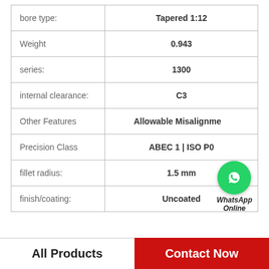| Property | Value |
| --- | --- |
| bore type: | Tapered 1:12 |
| Weight | 0.943 |
| series: | 1300 |
| internal clearance: | C3 |
| Other Features | Allowable Misalignment |
| Precision Class | ABEC 1 | ISO P0 |
| fillet radius: | 1.5 mm |
| finish/coating: | Uncoated |
[Figure (logo): WhatsApp contact button with green circle icon and 'WhatsApp Online' label]
All Products    Contact Now